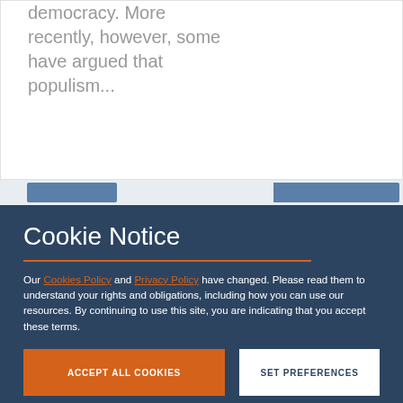democracy. More recently, however, some have argued that populism...
Cookie Notice
Our Cookies Policy and Privacy Policy have changed. Please read them to understand your rights and obligations, including how you can use our resources. By continuing to use this site, you are indicating that you accept these terms.
Cookies
We use cookies to enhance your experience on our site. Read about how we use cookies and how you can control them here. By continuing to use this site, without changing your settings, you are indicating that you accept this policy.
ACCEPT ALL COOKIES
SET PREFERENCES